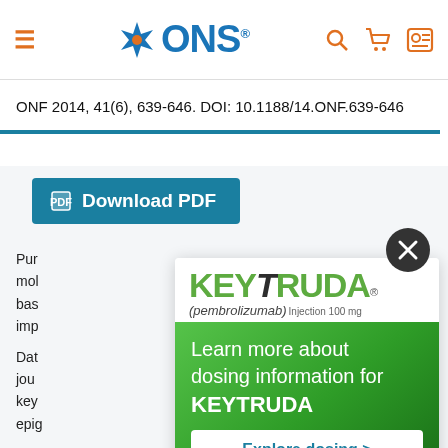ONS navigation bar with logo, search, cart, and account icons
ONF 2014, 41(6), 639-646. DOI: 10.1188/14.ONF.639-646
Download PDF
Pur... mol... bas... imp...
Dat... jou... key... epig...
[Figure (logo): KEYTRUDA (pembrolizumab) Injection 100 mg logo]
[Figure (infographic): Learn more about dosing information for KEYTRUDA advertisement with green background and Explore dosing > button]